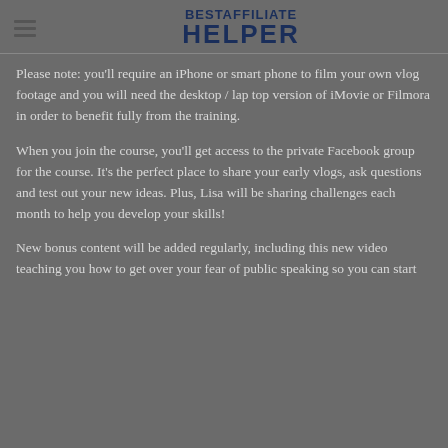BESTAFFILIATE HELPER
Please note: you'll require an iPhone or smart phone to film your own vlog footage and you will need the desktop / lap top version of iMovie or Filmora in order to benefit fully from the training.
When you join the course, you'll get access to the private Facebook group for the course. It's the perfect place to share your early vlogs, ask questions and test out your new ideas. Plus, Lisa will be sharing challenges each month to help you develop your skills!
New bonus content will be added regularly, including this new video teaching you how to get over your fear of public speaking so you can start